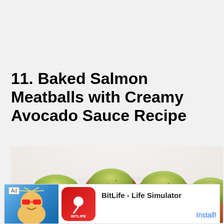11. Baked Salmon Meatballs with Creamy Avocado Sauce Recipe
[Figure (photo): Photo of baked salmon meatballs topped with creamy avocado sauce on a white plate]
Ad  BitLife - Life Simulator  Install!